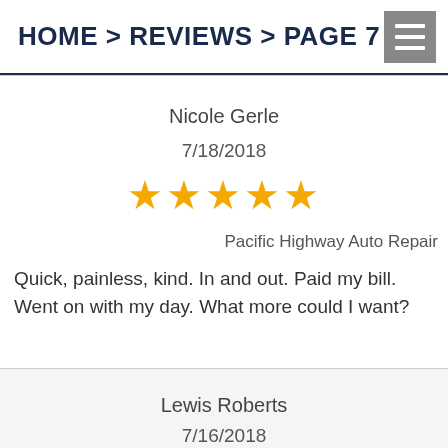HOME > REVIEWS > PAGE 7
Nicole Gerle
7/18/2018
[Figure (other): Five gold star rating icons]
Pacific Highway Auto Repair
Quick, painless, kind. In and out. Paid my bill. Went on with my day. What more could I want?
Lewis Roberts
7/16/2018